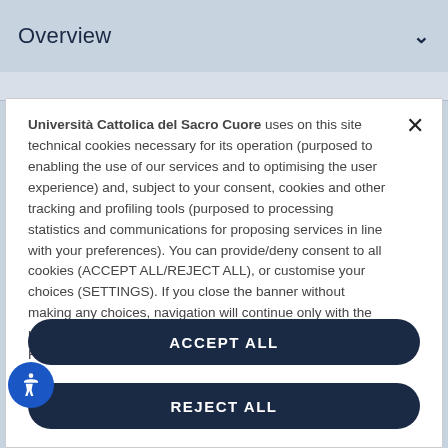Overview
Università Cattolica del Sacro Cuore uses on this site technical cookies necessary for its operation (purposed to enabling the use of our services and to optimising the user experience) and, subject to your consent, cookies and other tracking and profiling tools (purposed to processing statistics and communications for proposing services in line with your preferences). You can provide/deny consent to all cookies (ACCEPT ALL/REJECT ALL), or customise your choices (SETTINGS). If you close the banner without making any choices, navigation will continue only with the necessary cookies.
For further information see the University's Cookie Policy.
ACCEPT ALL
REJECT ALL